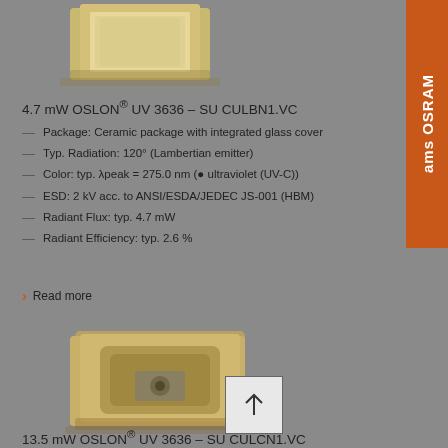[Figure (photo): Photo of OSLON UV 3636 SU CULBN1.VC ceramic LED package with integrated glass cover, top portion cropped]
4.7 mW OSLON® UV 3636 – SU CULBN1.VC
Package: Ceramic package with integrated glass cover
Typ. Radiation: 120° (Lambertian emitter)
Color: typ. λpeak = 275.0 nm (● ultraviolet (UV-C))
ESD: 2 kV acc. to ANSI/ESDA/JEDEC JS-001 (HBM)
Radiant Flux: typ. 4.7 mW
Radiant Efficiency: typ. 2.6 %
Read more
[Figure (photo): Photo of OSLON UV 3636 SU CULCN1.VC ceramic LED package, larger variant]
13.5 mW OSLON® UV 3636 – SU CULCN1.VC